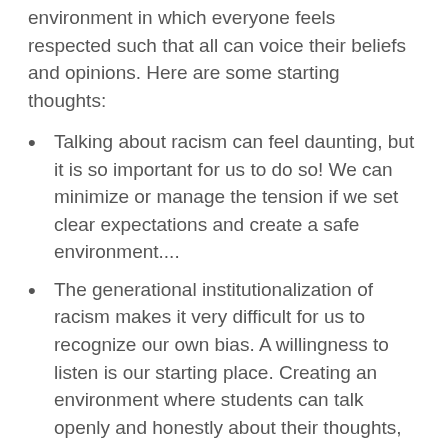environment in which everyone feels respected such that all can voice their beliefs and opinions. Here are some starting thoughts:
Talking about racism can feel daunting, but it is so important for us to do so!  We can minimize or manage the tension if we set clear expectations and create a safe environment....
The generational institutionalization of racism makes it very difficult for us to recognize our own bias. A willingness to listen is our starting place. Creating an environment where students can talk openly and honestly about their thoughts, their experiences, their beliefs and their fears is essential. Setting expectations and creating an environment that feels safe for students